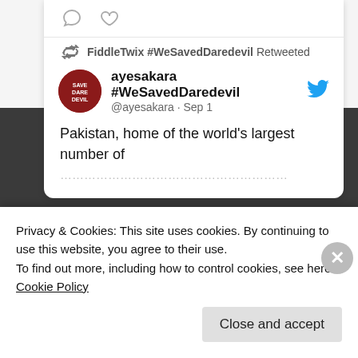[Figure (screenshot): Screenshot of a Twitter/social media interface showing tweet icons (comment bubble, heart), a retweet notification 'FiddleTwix #WeSavedDaredevil Retweeted', and a tweet from ayesakara #WeSavedDaredevil (@ayesakara · Sep 1) with text 'Pakistan, home of the world's largest number of...']
RECENT COMMENTS
fiddletwix on Pokemon Episode 64 Analysis: I...
Privacy & Cookies: This site uses cookies. By continuing to use this website, you agree to their use.
To find out more, including how to control cookies, see here: Cookie Policy
Close and accept